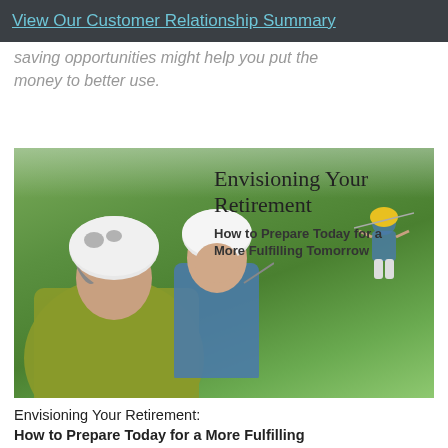View Our Customer Relationship Summary
saving opportunities might help you put the money to better use.
[Figure (photo): Book cover image showing people zip-lining in a forest setting with text 'Envisioning Your Retirement: How to Prepare Today for a More Fulfilling Tomorrow']
Envisioning Your Retirement:
How to Prepare Today for a More Fulfilling Tomorrow